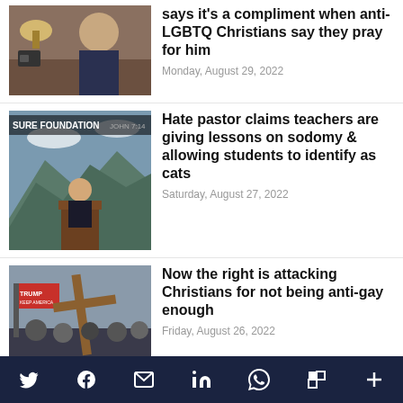[Figure (photo): Man in dark blazer and blue shirt being interviewed, lamp visible in background]
says it's a compliment when anti-LGBTQ Christians say they pray for him
Monday, August 29, 2022
[Figure (photo): Man speaking at pulpit with 'SURE FOUNDATION' banner and mountain landscape background]
Hate pastor claims teachers are giving lessons on sodomy & allowing students to identify as cats
Saturday, August 27, 2022
[Figure (photo): Protest crowd with Trump flags and a wooden cross held up in front of the Capitol]
Now the right is attacking Christians for not being anti-gay enough
Friday, August 26, 2022
[Figure (photo): Man's face in front of a world map background]
Hate preacher warns congregation that gays will get